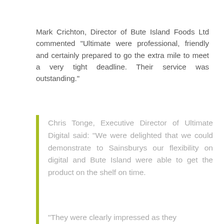Mark Crichton, Director of Bute Island Foods Ltd commented “Ultimate were professional, friendly and certainly prepared to go the extra mile to meet a very tight deadline. Their service was outstanding.”
Chris Tonge, Executive Director of Ultimate Digital said: “We were delighted that we could demonstrate to Sainsburys our flexibility on digital and Bute Island were able to get the product on the shelf on time.
“They were clearly impressed as they